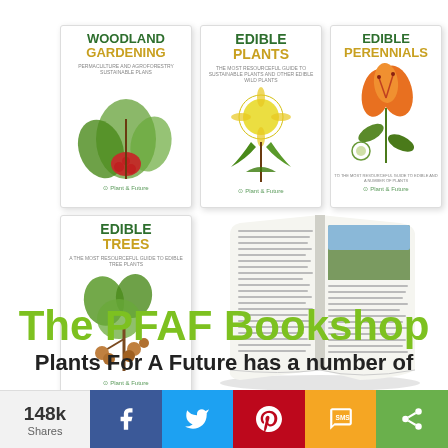[Figure (illustration): Collection of book covers: Woodland Gardening, Edible Plants, Edible Perennials, Edible Trees, and an open book/magazine spread, arranged as product showcase]
The PFAF Bookshop
Plants For A Future has a number of
[Figure (infographic): Social sharing bar showing 148k Shares, with buttons for Facebook, Twitter, Pinterest, SMS, and More sharing options]